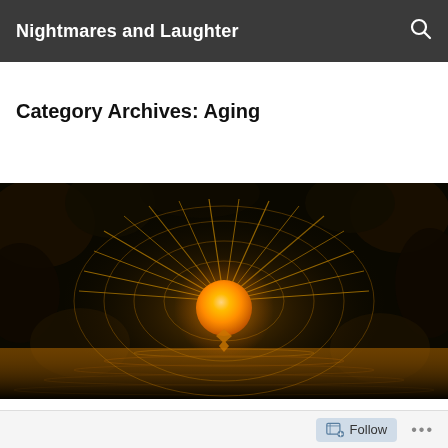Nightmares and Laughter
Category Archives: Aging
[Figure (illustration): A dark fantasy fractal image showing a glowing orange sun-like orb emitting rays, surrounded by golden intricate lattice patterns over a dark water reflection, all on a black background.]
Follow ...